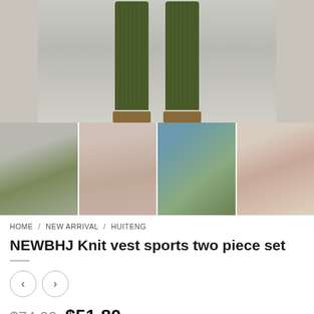[Figure (photo): Main product photo showing lower body with olive green pleated wide-leg pants and strappy sandals on a grey background]
[Figure (photo): Thumbnail 1: Full body shot of model in green knit bra top and matching pants]
[Figure (photo): Thumbnail 2: Full body shot of model in mauve/pink knit bra top and matching pants]
[Figure (photo): Thumbnail 3: Beach photo of model in green two-piece knit set]
[Figure (photo): Thumbnail 4: Model in terracotta/brown bra top and wide-leg pants]
HOME / NEW ARRIVAL / HUITENG
NEWBHJ Knit vest sports two piece set
$74.00  $51.80
SIZE CHART